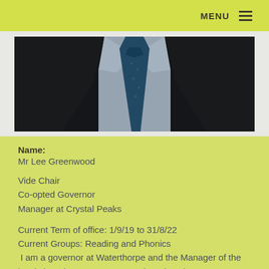MENU
[Figure (photo): Close-up photo of a man in a dark jacket, light blue shirt, and blue patterned tie, shown from chest up]
Name:
Mr Lee Greenwood
Vide Chair
Co-opted Governor
Manager at Crystal Peaks
Current Term of office: 1/9/19 to 31/8/22
Current Groups: Reading and Phonics
 I am a governor at Waterthorpe and the Manager of the local shopping Centre at Crystal Peaks. I became a